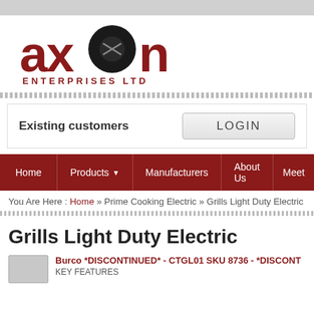[Figure (logo): Axon Enterprises Ltd logo — red lowercase 'axon' with a gear/circle replacing the 'o', and 'ENTERPRISES LTD' below in red spaced capitals]
Existing customers  LOGIN
Home  Products  Manufacturers  About Us  Meet
You Are Here : Home » Prime Cooking Electric » Grills Light Duty Electric
Grills Light Duty Electric
Burco *DISCONTINUED* - CTGL01 SKU 8736 - *DISCONT
KEY FEATURES